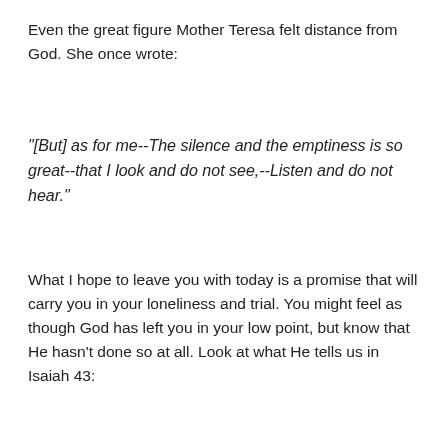Even the great figure Mother Teresa felt distance from God. She once wrote:
“[But] as for me--The silence and the emptiness is so great--that I look and do not see,--Listen and do not hear.”
What I hope to leave you with today is a promise that will carry you in your loneliness and trial. You might feel as though God has left you in your low point, but know that He hasn’t done so at all. Look at what He tells us in Isaiah 43: